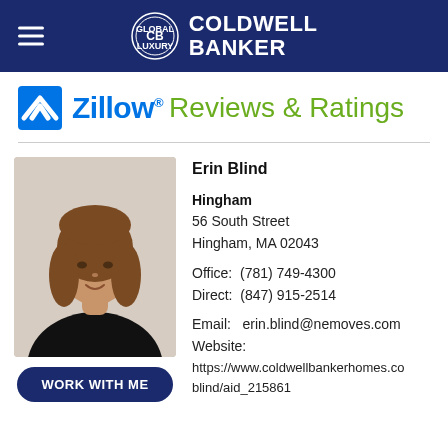[Figure (logo): Coldwell Banker Global Luxury logo with hamburger menu in dark navy header bar]
[Figure (logo): Zillow logo with 'Reviews & Ratings' text in blue and green]
[Figure (photo): Professional headshot of Erin Blind, a woman with long brown hair wearing a black top]
Erin Blind
Hingham
56 South Street
Hingham, MA 02043

Office: (781) 749-4300
Direct: (847) 915-2514

Email: erin.blind@nemoves.com
Website:
https://www.coldwellbankerhomes.co
blind/aid_215861
WORK WITH ME